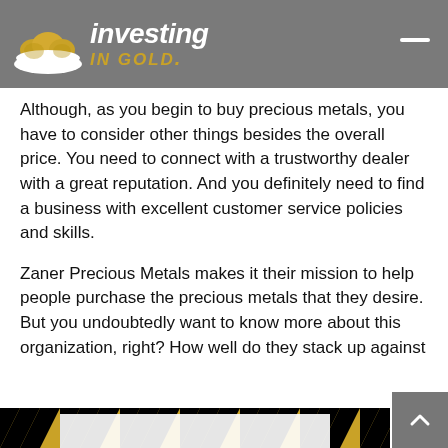[Figure (logo): Investing In Gold logo with gold nugget/hat icon on grey header bar]
Although, as you begin to buy precious metals, you have to consider other things besides the overall price. You need to connect with a trustworthy dealer with a great reputation. And you definitely need to find a business with excellent customer service policies and skills.
Zaner Precious Metals makes it their mission to help people purchase the precious metals that they desire. But you undoubtedly want to know more about this organization, right? How well do they stack up against their competitors? Have other people had great customer service experiences or was it a nightmare?
[Figure (illustration): Black and yellow hazard/caution stripe banner partially visible at bottom of page]